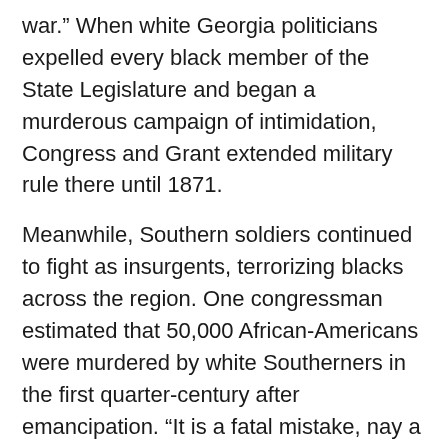war.” When white Georgia politicians expelled every black member of the State Legislature and began a murderous campaign of intimidation, Congress and Grant extended military rule there until 1871.
Meanwhile, Southern soldiers continued to fight as insurgents, terrorizing blacks across the region. One congressman estimated that 50,000 African-Americans were murdered by white Southerners in the first quarter-century after emancipation. “It is a fatal mistake, nay a wicked misery to talk of peace or the institutions of peace,” a federal attorney wrote almost two years after Appomattox. “We are in the very vortex of war.”
Against this insurgency, even President Andrew Johnson, an opponent of Reconstruction, continued the state of war for a year after Appomattox. When Johnson tried to end